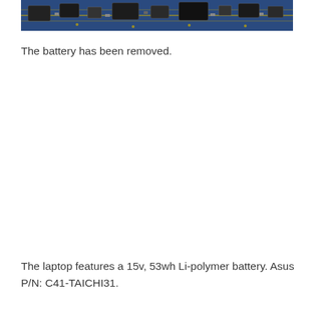[Figure (photo): Close-up photo of a circuit board with electronic components (chips, capacitors, gold traces) on a blue PCB substrate, cropped at top showing only the lower portion of the image.]
The battery has been removed.
The laptop features a 15v, 53wh Li-polymer battery. Asus P/N: C41-TAICHI31.